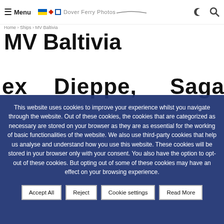Menu | Dover Ferry Photos
MV Baltivia
ex  Dieppe,  Saga  Star,
This website uses cookies to improve your experience whilst you navigate through the website. Out of these cookies, the cookies that are categorized as necessary are stored on your browser as they are as essential for the working of basic functionalities of the website. We also use third-party cookies that help us analyse and understand how you use this website. These cookies will be stored in your browser only with your consent. You also have the option to opt-out of these cookies. But opting out of some of these cookies may have an effect on your browsing experience.
Accept All
Reject
Cookie settings
Read More